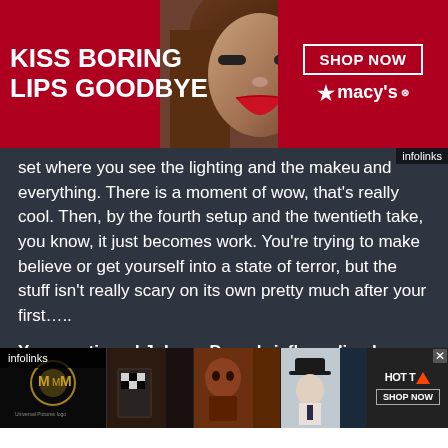[Figure (advertisement): Macy's lipstick advertisement showing woman's face with red lips and text 'KISS BORING LIPS GOODBYE' with SHOP NOW button]
set where you see the lighting and the makeup and everything. There is a moment of wow, that's really cool. Then, by the fourth setup and the twentieth take, you know, it just becomes work. You're trying to make believe or get yourself into a state of terror, but the stuff isn't really scary on its own pretty much after your first…..
You mentioned Johnny Depp briefly earlier, have you had a chance to see a cut a Black Mass yet, and is there anything you are
[Figure (advertisement): Bottom banner advertisement showing movie thumbnails including The Mummy and other films with HOT TO SHOP NOW button]